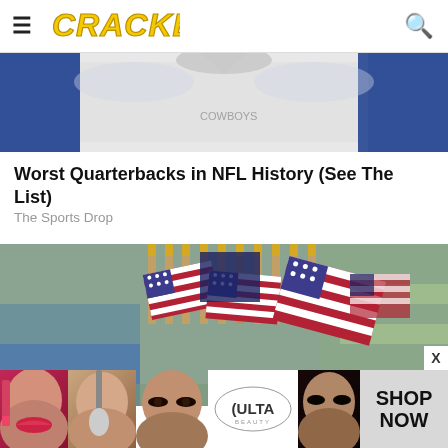CRACKED
[Figure (photo): Close-up of a football player wearing a white jersey with blue trim, showing chest/torso area]
Worst Quarterbacks in NFL History (See The List)
The Sports Drop
[Figure (photo): Bundle of small American flags with gold-tipped wooden dowels displayed in a store, with blurred store shelves in background]
[Figure (photo): Ulta Beauty advertisement banner showing women's faces with makeup, ULTA logo, and SHOP NOW text]